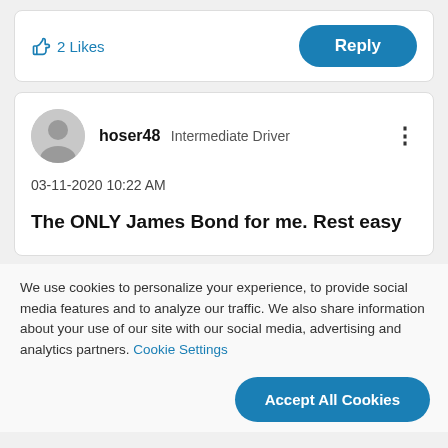[Figure (screenshot): Thumbs up icon with '2 Likes' text in blue and a blue rounded 'Reply' button]
[Figure (screenshot): User comment card with avatar, username 'hoser48', role 'Intermediate Driver', timestamp '03-11-2020 10:22 AM', and comment text 'The ONLY James Bond for me. Rest easy']
We use cookies to personalize your experience, to provide social media features and to analyze our traffic. We also share information about your use of our site with our social media, advertising and analytics partners. Cookie Settings
[Figure (screenshot): Blue rounded 'Accept All Cookies' button]